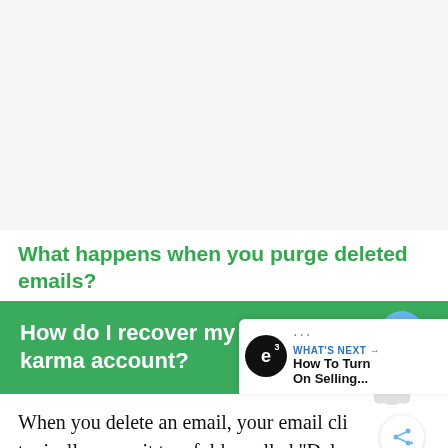[Figure (other): White/light gray blank top area, likely an advertisement placeholder]
What happens when you purge deleted emails?
How do I recover my credit karma account?
When you delete an email, your email cli typically move it to a folder called “Dele you have a lot of emails in your inbox and you’re